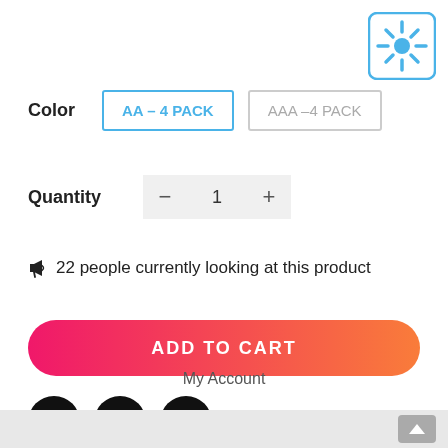[Figure (illustration): Sun/brightness icon in a rounded square box, blue color, top right corner]
Color   AA – 4 PACK   AAA –4 PACK
Quantity  –  1  +
📢 22 people currently looking at this product
ADD TO CART
[Figure (illustration): Three social media icons: Facebook, Twitter, Pinterest — black circles]
My Account
▲ scroll to top button